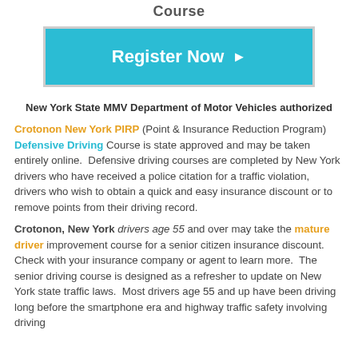Course
[Figure (other): Register Now button with right arrow, teal/cyan background]
New York State MMV Department of Motor Vehicles authorized
Crotonon New York PIRP (Point & Insurance Reduction Program) Defensive Driving Course is state approved and may be taken entirely online. Defensive driving courses are completed by New York drivers who have received a police citation for a traffic violation, drivers who wish to obtain a quick and easy insurance discount or to remove points from their driving record.
Crotonon, New York drivers age 55 and over may take the mature driver improvement course for a senior citizen insurance discount. Check with your insurance company or agent to learn more. The senior driving course is designed as a refresher to update on New York state traffic laws. Most drivers age 55 and up have been driving long before the smartphone era and highway traffic safety involving driving